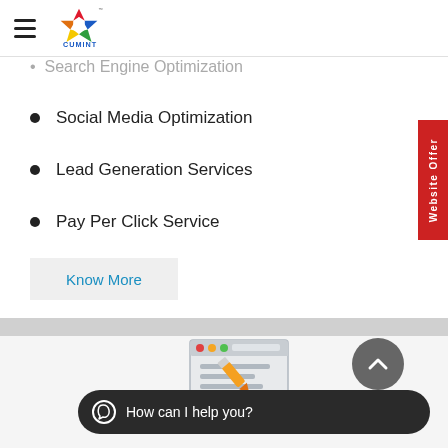CUMINT logo and navigation
Search Engine Optimization
Social Media Optimization
Lead Generation Services
Pay Per Click Service
Know More
[Figure (illustration): Web design/browser window illustration with pencil icon]
How can I help you?